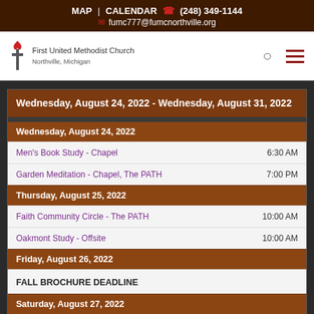MAP | CALENDAR (248) 349-1144 fumc777@fumcnorthville.org
[Figure (logo): First United Methodist Church Northville Michigan logo with flame/cross symbol]
Wednesday, August 24, 2022 - Wednesday, August 31, 2022
Wednesday, August 24, 2022
Men's Book Study - Chapel   6:30 AM
Garden Meditation - Chapel, The PATH   7:00 PM
Thursday, August 25, 2022
Faith Community Circle - The PATH   10:00 AM
Oakmont Study - Offsite   10:00 AM
Friday, August 26, 2022
FALL BROCHURE DEADLINE
Saturday, August 27, 2022
AA - Day Care Parking Lot or FH   7:30 PM
Sunday, August 28, 2022